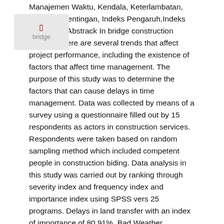Manajemen Waktu, Kendala, Keterlambatan, Indeks Kepentingan, Indeks Pengaruh, Indeks Frekuensi. Abstrack In bridge construction projects, there are several trends that affect project performance, including the existence of factors that affect time management. The purpose of this study was to determine the factors that can cause delays in time management. Data was collected by means of a survey using a questionnaire filled out by 15 respondents as actors in construction services. Respondents were taken based on random sampling method which included competent people in construction biding. Data analysis in this study was carried out by ranking through severity index and frequency index and importance index using SPSS vers 25 programs. Delays in land transfer with an index of importance of 80.91%, Bad Weather Conditions with an index of importance of 79.73%, Design Changes with an index of importance of 79.73%, Lack of financial control and supervision with an index of importance of 79.67%, Inadequate number of workers with an interest index of 78.58%, Workers' Strikes with an interest index of 78.58%, Late Payments with an interest index of 78.48%, Delays in drawing design approval with an interest